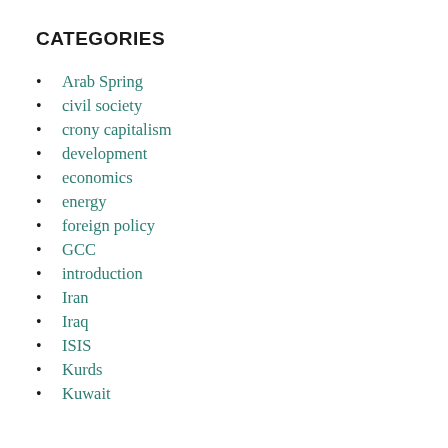CATEGORIES
Arab Spring
civil society
crony capitalism
development
economics
energy
foreign policy
GCC
introduction
Iran
Iraq
ISIS
Kurds
Kuwait